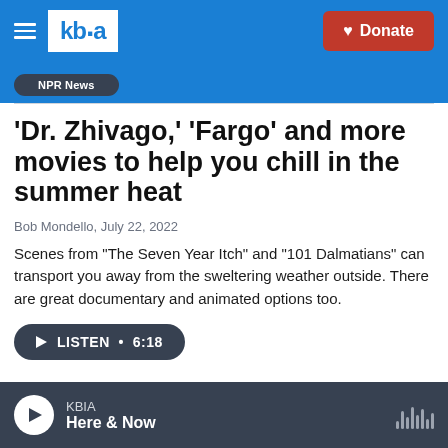KBIA — Donate
'Dr. Zhivago,' 'Fargo' and more movies to help you chill in the summer heat
Bob Mondello, July 22, 2022
Scenes from "The Seven Year Itch" and "101 Dalmatians" can transport you away from the sweltering weather outside. There are great documentary and animated options too.
LISTEN • 6:18
KBIA Here & Now